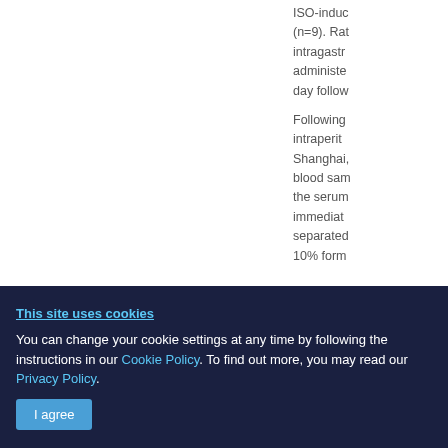ISO-induced (n=9). Rats intragastrically administered day follow
Following intraperitoneally Shanghai, blood samples the serum immediately separated 10% form
This site uses cookies
You can change your cookie settings at any time by following the instructions in our Cookie Policy. To find out more, you may read our Privacy Policy.
I agree